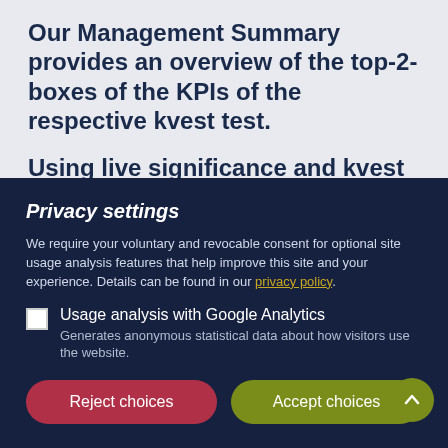Our Management Summary provides an overview of the top-2-boxes of the KPIs of the respective kvest test.
Using live significance and kvest score, you can quickly and unambiguously record the strengths of the individual stimuli for the
Privacy settings
We require your voluntary and revocable consent for optional site usage analysis features that help improve this site and your experience. Details can be found in our privacy policy.

Usage analysis with Google Analytics
Generates anonymous statistical data about how visitors use the website.
[Figure (screenshot): Privacy settings modal dialog with Reject choices and Accept choices buttons, overlaying a webpage about Management Summary KPIs. Bottom strip shows a partial chart and filter label.]